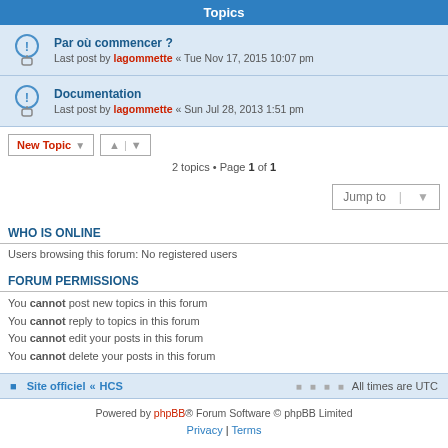Topics
Par où commencer ? Last post by lagommette « Tue Nov 17, 2015 10:07 pm
Documentation Last post by lagommette « Sun Jul 28, 2013 1:51 pm
2 topics • Page 1 of 1
WHO IS ONLINE
Users browsing this forum: No registered users
FORUM PERMISSIONS
You cannot post new topics in this forum
You cannot reply to topics in this forum
You cannot edit your posts in this forum
You cannot delete your posts in this forum
Site officiel « HCS   All times are UTC
Powered by phpBB® Forum Software © phpBB Limited Privacy | Terms